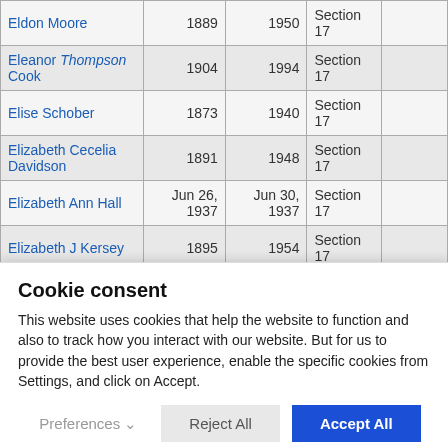| Name | Born | Died | Location |  |
| --- | --- | --- | --- | --- |
| Eldon Moore | 1889 | 1950 | Section 17 |  |
| Eleanor Thompson Cook | 1904 | 1994 | Section 17 |  |
| Elise Schober | 1873 | 1940 | Section 17 |  |
| Elizabeth Cecelia Davidson | 1891 | 1948 | Section 17 |  |
| Elizabeth Ann Hall | Jun 26, 1937 | Jun 30, 1937 | Section 17 |  |
| Elizabeth J Kersey | 1895 | 1954 | Section 17 |  |
| Elizabeth A Kiel | May 18, 1895 | Oct 9, 1956 | Section 17 |  |
| Elizabeth R Kirk | 1897 | 1963 | Section 17 |  |
Cookie consent
This website uses cookies that help the website to function and also to track how you interact with our website. But for us to provide the best user experience, enable the specific cookies from Settings, and click on Accept.